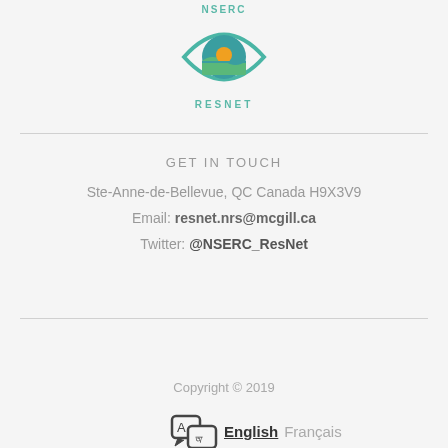[Figure (logo): NSERC ResNet logo — eye-shaped icon with teal outline, green and blue circular design inside with a sun/horizon motif, with 'NSERC' text above and 'RESNET' text below in teal letters]
GET IN TOUCH
Ste-Anne-de-Bellevue, QC Canada H9X3V9
Email: resnet.nrs@mcgill.ca
Twitter: @NSERC_ResNet
Copyright © 2019
English  Français